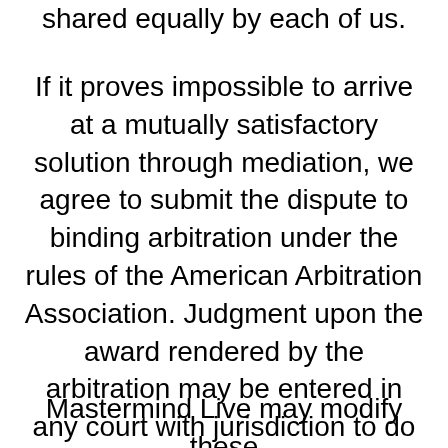shared equally by each of us.
If it proves impossible to arrive at a mutually satisfactory solution through mediation, we agree to submit the dispute to binding arbitration under the rules of the American Arbitration Association. Judgment upon the award rendered by the arbitration may be entered in any court with jurisdiction to do so.
Mastermind Live may modify these